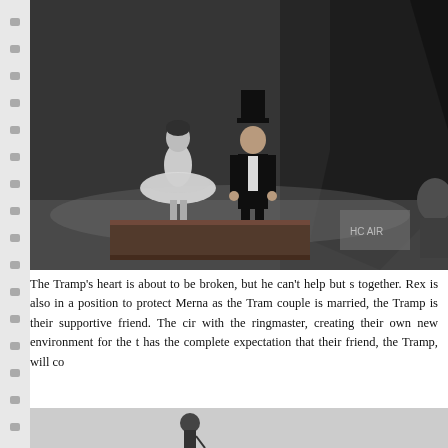[Figure (photo): Black and white still from a circus film showing a woman in a tutu and a man in a top hat and tuxedo standing together on a trunk, with a third figure partially visible in the background on the right.]
The Tramp's heart is about to be broken, but he can't help but s together. Rex is also in a position to protect Merna as the Tram couple is married, the Tramp is their supportive friend. The cir with the ringmaster, creating their own new environment for the t has the complete expectation that their friend, the Tramp, will co
[Figure (photo): Partial black and white photo showing the bottom of the page, with a small silhouette figure visible (likely the Tramp walking away).]